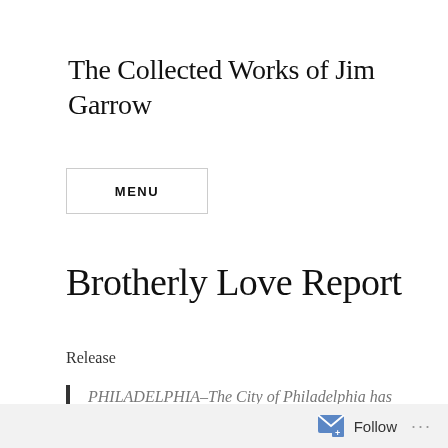The Collected Works of Jim Garrow
MENU
Brotherly Love Report
Release
PHILADELPHIA–The City of Philadelphia has issued a brand-new
Follow